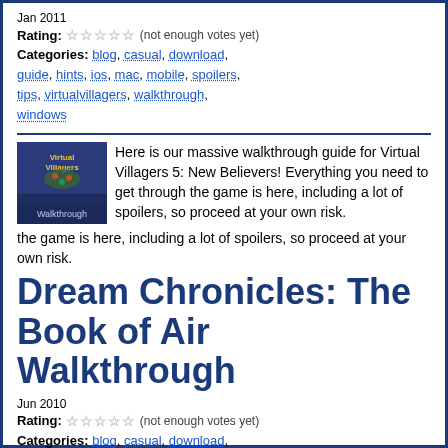Jan 2011
Rating: ☆☆☆☆☆ (not enough votes yet)
Categories: blog, casual, download, guide, hints, ios, mac, mobile, spoilers, tips, virtualvillagers, walkthrough, windows
Here is our massive walkthrough guide for Virtual Villagers 5: New Believers! Everything you need to get through the game is here, including a lot of spoilers, so proceed at your own risk.
Dream Chronicles: The Book of Air Walkthrough
Jun 2010
Rating: ☆☆☆☆☆ (not enough votes yet)
Categories: blog, casual, download, dreamchronicles, guide, hints, mac, spoilers, tips, walkthrough, windows
We've just finished a complete